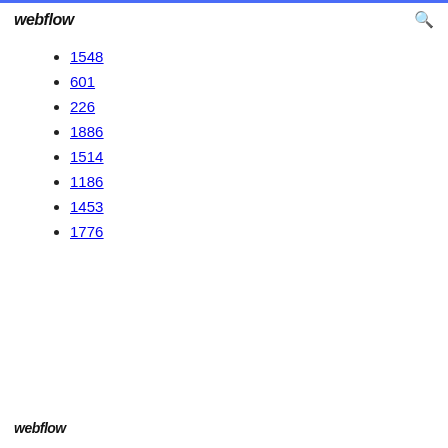webflow
1548
601
226
1886
1514
1186
1453
1776
webflow